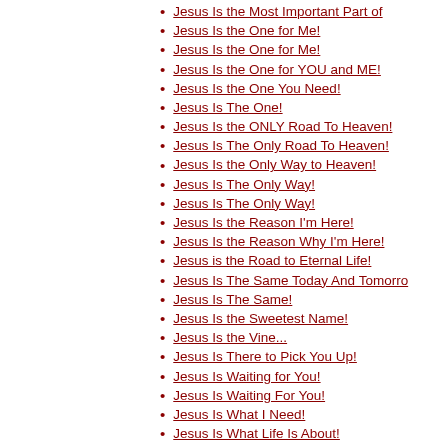Jesus Is the Most Important Part of
Jesus Is the One for Me!
Jesus Is the One for Me!
Jesus Is the One for YOU and ME!
Jesus Is the One You Need!
Jesus Is The One!
Jesus Is the ONLY Road To Heaven!
Jesus Is The Only Road To Heaven!
Jesus Is the Only Way to Heaven!
Jesus Is The Only Way!
Jesus Is The Only Way!
Jesus Is the Reason I'm Here!
Jesus Is the Reason Why I'm Here!
Jesus is the Road to Eternal Life!
Jesus Is The Same Today And Tomorro
Jesus Is The Same!
Jesus Is the Sweetest Name!
Jesus Is the Vine...
Jesus Is There to Pick You Up!
Jesus Is Waiting for You!
Jesus Is Waiting For You!
Jesus Is What I Need!
Jesus Is What Life Is About!
Jesus IS What Life Is All About!
Jesus Is What Matters!
Jesus Is What We Need!
Jesus Is What You Need!
Jesus Is What's Important!
Jesus Is What's Important!
Jesus Is Who We Need TODAY!